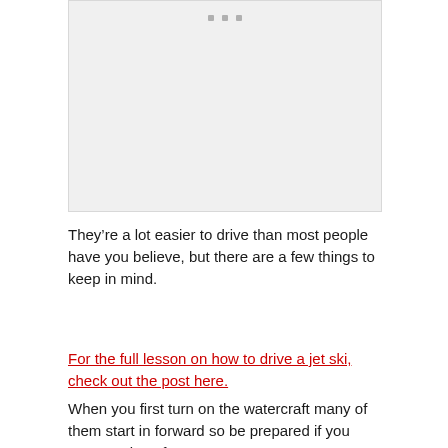[Figure (photo): A blank/placeholder image area with three small dots at the top center, light gray background]
They’re a lot easier to drive than most people have you believe, but there are a few things to keep in mind.
For the full lesson on how to drive a jet ski, check out the post here.
When you first turn on the watercraft many of them start in forward so be prepared if you start moving. If your